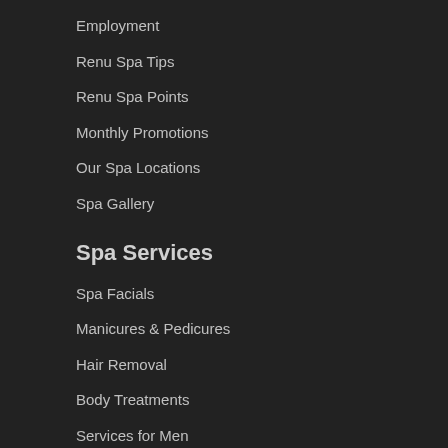Employment
Renu Spa Tips
Renu Spa Points
Monthly Promotions
Our Spa Locations
Spa Gallery
Spa Services
Spa Facials
Manicures & Pedicures
Hair Removal
Body Treatments
Services for Men
Spa Packages
Renu Gift Cards